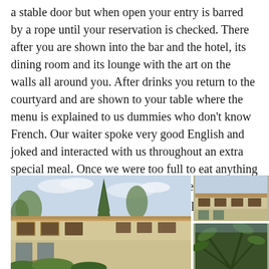a stable door but when open your entry is barred by a rope until your reservation is checked. There after you are shown into the bar and the hotel, its dining room and its lounge with the art on the walls all around you. After drinks you return to the courtyard and are shown to your table where the menu is explained to us dummies who don't know French. Our waiter spoke very good English and joked and interacted with us throughout an extra special meal. Once we were too full to eat anything more he tempted us with a plate of fresh raspberries and crème fraise. A very special memory.
[Figure (photo): Main photo of a French hotel/restaurant building exterior with a large cypress tree in the center, stone facade, tiled roof, and surrounding vegetation. Sky visible above.]
[Figure (photo): Smaller photo of the same or similar French building exterior, upper right of the layout.]
[Figure (photo): Partial photo at lower right, showing tropical or garden vegetation.]